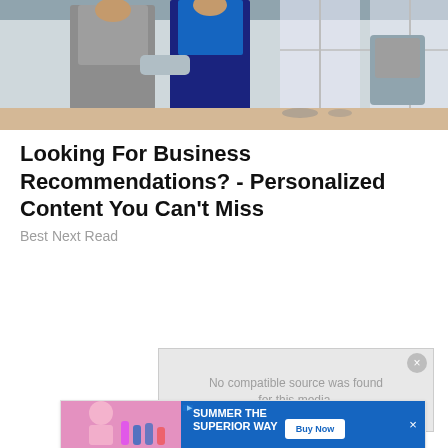[Figure (photo): Two businessmen in suits standing at a conference table in a modern office, appearing to shake hands or greet each other. One in a grey suit, one in a dark navy suit. Office chairs and large windows visible in background.]
Looking For Business Recommendations? - Personalized Content You Can't Miss
Best Next Read
[Figure (screenshot): Video player overlay showing 'No compatible source was found for this media.' message in grey text on light grey background with close button.]
[Figure (screenshot): Advertisement banner: photo of person at table with drinks on left, blue background with text 'SUMMER THE SUPERIOR WAY' and 'Buy Now' button on right.]